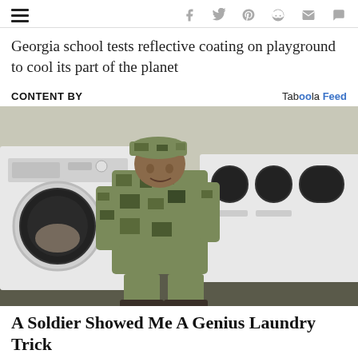CONTENT BY | Taboola Feed
Georgia school tests reflective coating on playground to cool its part of the planet
CONTENT BY
[Figure (photo): A soldier in military camouflage uniform bending over to load laundry into a front-loading washing machine in a laundromat row of white washing machines]
A Soldier Showed Me A Genius Laundry Trick